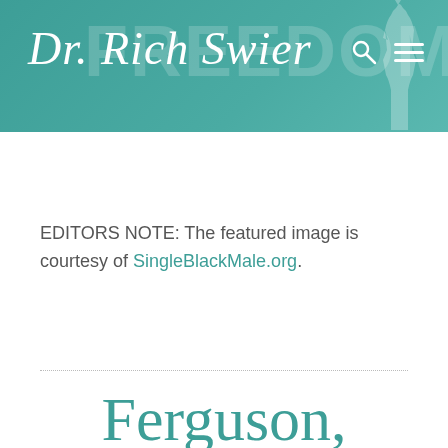[Figure (other): Website header banner for Dr. Rich Swier blog with teal/green background, decorative 'FREEDOM' text watermark, Statue of Liberty silhouette on right, search icon and hamburger menu icons top right]
EDITORS NOTE: The featured image is courtesy of SingleBlackMale.org.
Ferguson,